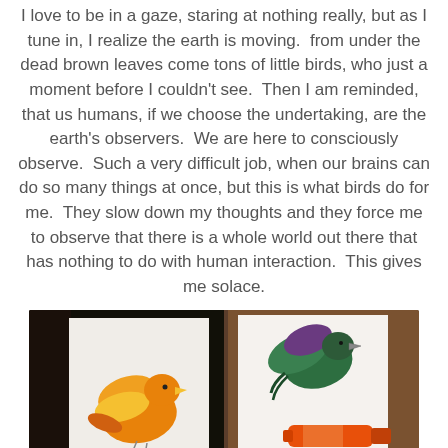I love to be in a gaze, staring at nothing really, but as I tune in, I realize the earth is moving.  from under the dead brown leaves come tons of little birds, who just a moment before I couldn't see.  Then I am reminded, that us humans, if we choose the undertaking, are the earth's observers.  We are here to consciously observe.  Such a very difficult job, when our brains can do so many things at once, but this is what birds do for me.  They slow down my thoughts and they force me to observe that there is a whole world out there that has nothing to do with human interaction.  This gives me solace.
[Figure (photo): Two side-by-side photographs of bird artwork: left photo shows a colorful orange and yellow bird painting on white paper with a dark background; right photo shows a green and purple bird silhouette painting with an orange paint tube or brush below it, on a wooden surface background.]